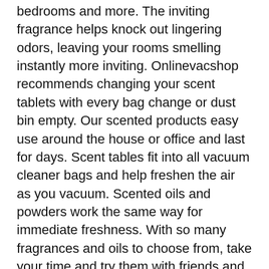bedrooms and more. The inviting fragrance helps knock out lingering odors, leaving your rooms smelling instantly more inviting. Onlinevacshop recommends changing your scent tablets with every bag change or dust bin empty. Our scented products easy use around the house or office and last for days. Scent tables fit into all vacuum cleaner bags and help freshen the air as you vacuum. Scented oils and powders work the same way for immediate freshness. With so many fragrances and oils to choose from, take your time and try them with friends and family members. Onlinevacshop offers a wide variety of fragrances including floral, fruity, woodsy and special, limited-edition seasonal fragrances. Additional fragrances are being added to our site every day, be sure to check back often. If you cant find the Air Fresheners & Deodorize you need on our site please contact us and we will do our best to get it for you. Be sure to take advantage of our huge volume discounts and free shipping options on most of the Air Fresheners &